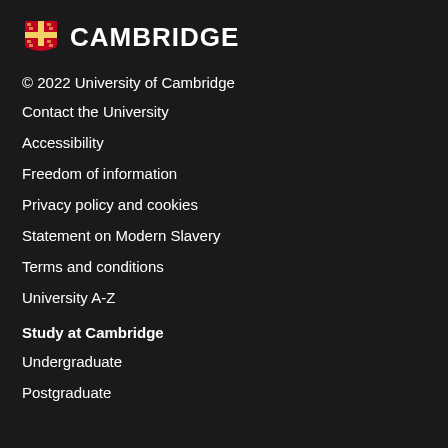[Figure (logo): University of Cambridge shield logo with CAMBRIDGE text]
© 2022 University of Cambridge
Contact the University
Accessibility
Freedom of information
Privacy policy and cookies
Statement on Modern Slavery
Terms and conditions
University A-Z
Study at Cambridge
Undergraduate
Postgraduate